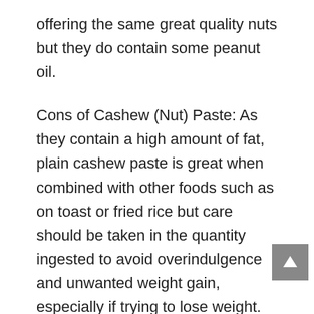offering the same great quality nuts but they do contain some peanut oil.
Cons of Cashew (Nut) Paste: As they contain a high amount of fat, plain cashew paste is great when combined with other foods such as on toast or fried rice but care should be taken in the quantity ingested to avoid overindulgence and unwanted weight gain, especially if trying to lose weight. They assimilate easily into the body however so too much can actually weigh down your cardiovascular system which cannot do well with being overworked.
Natural health benefits of Cashew (Nut) Paste: